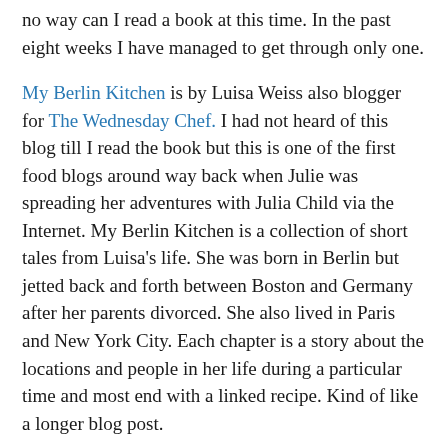no way can I read a book at this time. In the past eight weeks I have managed to get through only one.
My Berlin Kitchen is by Luisa Weiss also blogger for The Wednesday Chef. I had not heard of this blog till I read the book but this is one of the first food blogs around way back when Julie was spreading her adventures with Julia Child via the Internet. My Berlin Kitchen is a collection of short tales from Luisa's life. She was born in Berlin but jetted back and forth between Boston and Germany after her parents divorced. She also lived in Paris and New York City. Each chapter is a story about the locations and people in her life during a particular time and most end with a linked recipe. Kind of like a longer blog post.
This was actually the perfect post baby book. Each chapter or mini story could be consumed quickly. Thus if I only really got 5 minutes to sit down and read I might actually make it through the one chapter story. I remember the day I did 50 pages at once. It was glorious and hasn't happened since. My favorite part of the book though was the recipes. They all sounded so good and it got me itching to be in the kitchen.